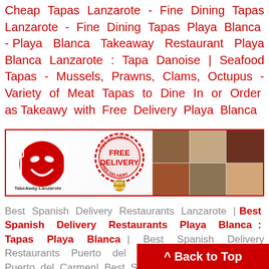Cheap Tapas Lanzarote - Fine Dining Tapas Lanzarote - Fine Dining Tapas Playa Blanca - Playa Blanca Takeaway Restaurant Playa Blanca Lanzarote : Tapa Danoise | Seafood Tapas - Mussels, Prawns, Clams, Octopus - Variety of Meat Tapas to Dine In or Order as Takeawy with Free Delivery Playa Blanca
[Figure (infographic): TakeAway Lanzarote banner with logo on the left showing red smiley face with fork and knife, FREE DELIVERY stamp in the middle, Best Seller badge, and food photos on the right side.]
Best Spanish Delivery Restaurants Lanzarote | Best Spanish Delivery Restaurants Playa Blanca : Tapas Playa Blanca | Best Spanish Delivery Restaurants Puerto del Carmen Bodegon Tapas Puerto del Carmen| Best S